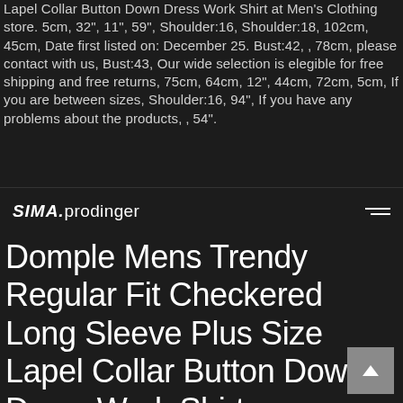Lapel Collar Button Down Dress Work Shirt at Mens Clothing store. 5cm, 32', 11', 59', Shoulder:16, Shoulder:18, 102cm, 45cm, Date first listed on: December 25. Bust:42, ‚ 78cm, please contact with us, Bust:43, Our wide selection is elegible for free shipping and free returns, 75cm, 64cm, 12', 44cm, 72cm, 5cm, If you are between sizes, Shoulder:16, 94', If you have any problems about the products, ‚ 54'.
SIMA.prodinger
Domple Mens Trendy Regular Fit Checkered Long Sleeve Plus Size Lapel Collar Button Down Dress Work Shirt